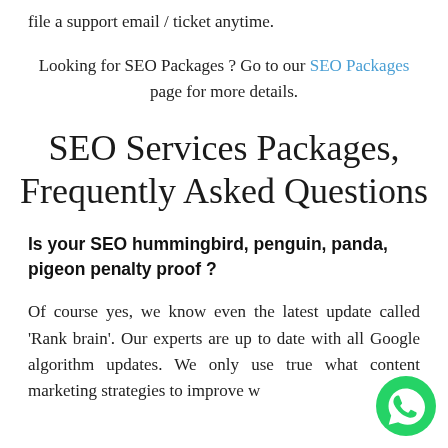file a support email / ticket anytime.
Looking for SEO Packages ? Go to our SEO Packages page for more details.
SEO Services Packages, Frequently Asked Questions
Is your SEO hummingbird, penguin, panda, pigeon penalty proof ?
Of course yes, we know even the latest update called 'Rank brain'. Our experts are up to date with all Google algorithm updates. We only use true white hat content marketing strategies to improve website visibility.